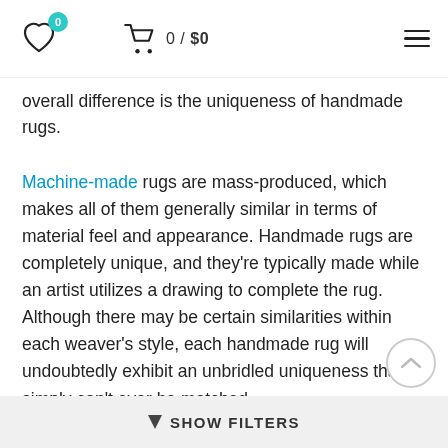0 / $0
overall difference is the uniqueness of handmade rugs.
Machine-made rugs are mass-produced, which makes all of them generally similar in terms of material feel and appearance. Handmade rugs are completely unique, and they’re typically made while an artist utilizes a drawing to complete the rug. Although there may be certain similarities within each weaver’s style, each handmade rug will undoubtedly exhibit an unbridled uniqueness that simply can’t ever be matched.
2. Rugs and Materials
▼ SHOW FILTERS